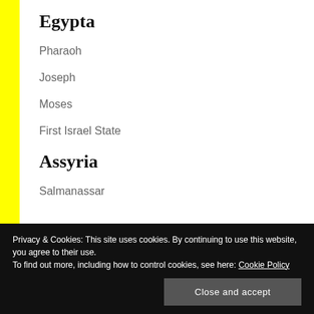Egypta
Pharaoh
Joseph
Moses
First Israel State
Assyria
Salmanassar
Privacy & Cookies: This site uses cookies. By continuing to use this website, you agree to their use. To find out more, including how to control cookies, see here: Cookie Policy